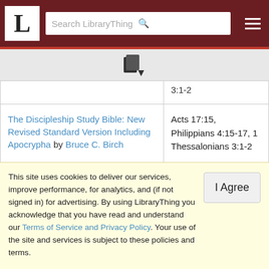[Figure (screenshot): LibraryThing navigation bar with logo 'L', search box, and hamburger menu on dark red background]
| Book | Reference |
| --- | --- |
| [truncated above] ... | 3:1-2 [truncated] |
| The Discipleship Study Bible: New Revised Standard Version Including Apocrypha by Bruce C. Birch | Acts 17:15, Philippians 4:15-17, 1 Thessalonians 3:1-2 |
| Douay-Rheims Bible. Old and New Testaments the Apocrypha by Catholic Church [truncated] | Acts 17:15, Philippians 4:15-17, 1 [truncated] |
This site uses cookies to deliver our services, improve performance, for analytics, and (if not signed in) for advertising. By using LibraryThing you acknowledge that you have read and understand our Terms of Service and Privacy Policy. Your use of the site and services is subject to these policies and terms.